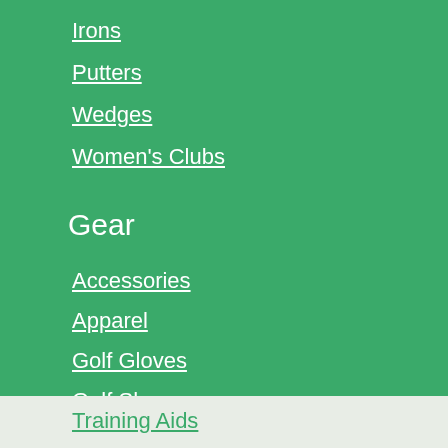Irons
Putters
Wedges
Women's Clubs
Gear
Accessories
Apparel
Golf Gloves
Golf Shoes
Technology
Training Aids